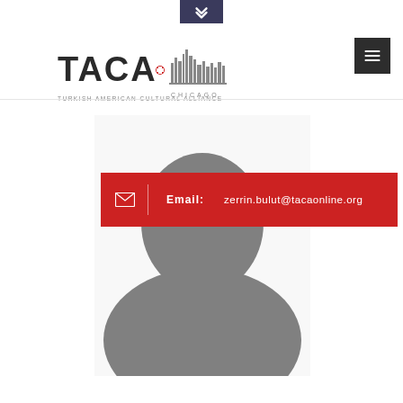[Figure (logo): TACA Chicago - Turkish American Cultural Alliance logo with city skyline silhouette]
[Figure (photo): Gray silhouette placeholder profile photo of a person (head and shoulders)]
Email: zerrin.bulut@tacaonline.org